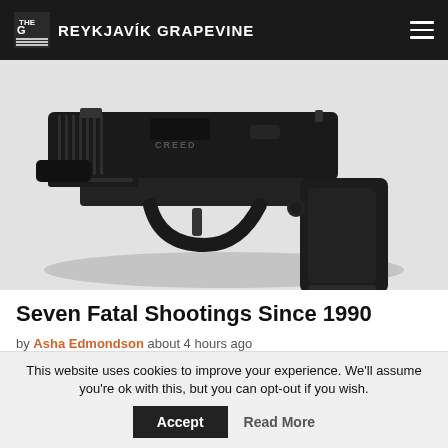THE REYKJAVÍK GRAPEVINE
[Figure (photo): Close-up photo of a black semi-automatic handgun (Walther Creed or similar) on a light grey/white background, viewed from the left side.]
Seven Fatal Shootings Since 1990
by Asha Edmondson about 4 hours ago
This website uses cookies to improve your experience. We'll assume you're ok with this, but you can opt-out if you wish.